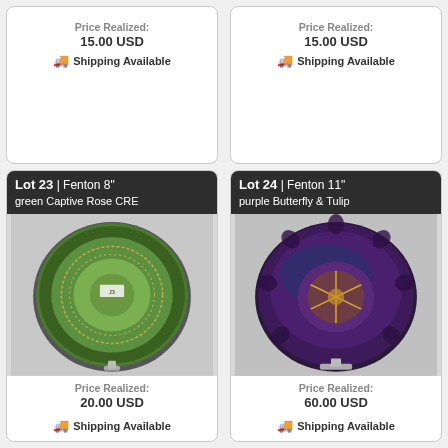Price Realized: 15.00 USD
🚚 Shipping Available
Price Realized: 15.00 USD
🚚 Shipping Available
Lot 23 | Fenton 8" green Captive Rose CRE
[Figure (photo): Green Fenton 8 inch Captive Rose carnival glass plate on a stand, viewed from above]
Price Realized: 20.00 USD
🚚 Shipping Available
Lot 24 | Fenton 11" purple Butterfly & Tulip
[Figure (photo): Purple iridescent Fenton 11 inch Butterfly & Tulip carnival glass bowl on a stand, viewed from above]
Price Realized: 60.00 USD
🚚 Shipping Available